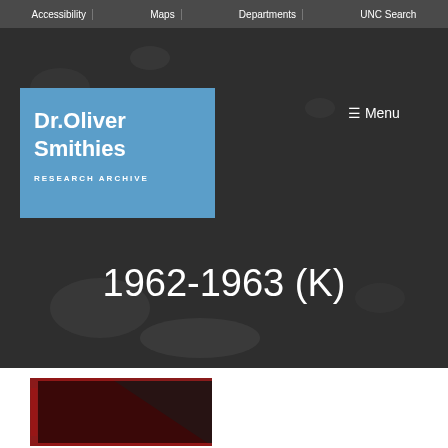Accessibility | Maps | Departments | UNC Search
[Figure (screenshot): Dark textured background hero image for Dr. Oliver Smithies Research Archive website showing logo and 1962-1963 (K) title]
1962-1963 (K)
[Figure (photo): Partial thumbnail image of a dark red/maroon book cover]